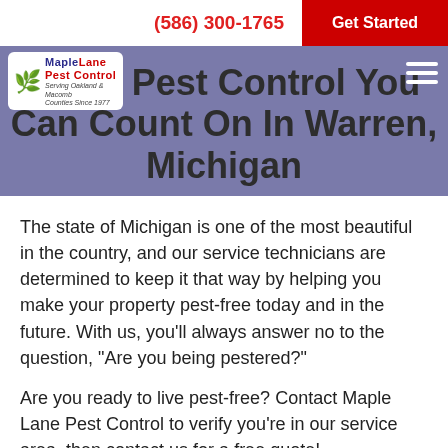(586) 300-1765 | Get Started
Local Pest Control You Can Count On In Warren, Michigan
[Figure (logo): Maple Lane Pest Control logo with green leaf/tree graphic, company name in blue and red, tagline below]
The state of Michigan is one of the most beautiful in the country, and our service technicians are determined to keep it that way by helping you make your property pest-free today and in the future. With us, you'll always answer no to the question, "Are you being pestered?"
Are you ready to live pest-free? Contact Maple Lane Pest Control to verify you're in our service area, then contact us for a free quote!